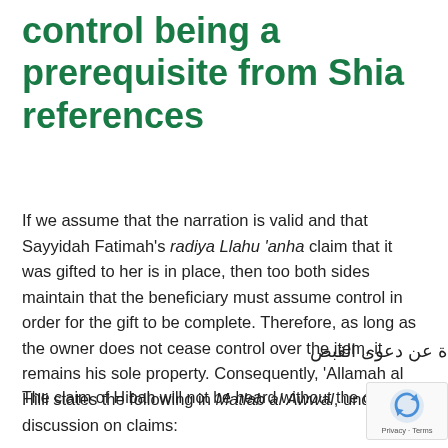control being a prerequisite from Shia references
If we assume that the narration is valid and that Sayyidah Fatimah's radiya Llahu 'anha claim that it was gifted to her is in place, then too both sides maintain that the beneficiary must assume control in order for the gift to be complete. Therefore, as long as the owner does not cease control over the item, it remains his sole property. Consequently, 'Allamah al Hilli states the following in Matlab al Awwal, under the discussion on claims:
فلا تسمع دعوى الهبة مجردة عن دعوى القبض
The claim of Hibah will not be heard without the claim of possession.[19]